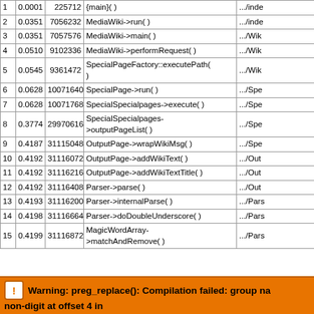| # | Time | Memory | Function | Location |
| --- | --- | --- | --- | --- |
| 1 | 0.0001 | 225712 | {main}( ) | .../inde |
| 2 | 0.0351 | 7056232 | MediaWiki->run( ) | .../inde |
| 3 | 0.0351 | 7057576 | MediaWiki->main( ) | .../Wik |
| 4 | 0.0510 | 9102336 | MediaWiki->performRequest( ) | .../Wik |
| 5 | 0.0545 | 9361472 | SpecialPageFactory::executePath( ) | .../Wik |
| 6 | 0.0628 | 10071640 | SpecialPage->run( ) | .../Spe |
| 7 | 0.0628 | 10071768 | SpecialSpecialpages->execute( ) | .../Spe |
| 8 | 0.3774 | 29970616 | SpecialSpecialpages->outputPageList( ) | .../Spe |
| 9 | 0.4187 | 31115048 | OutputPage->wrapWikiMsg( ) | .../Spe |
| 10 | 0.4192 | 31116072 | OutputPage->addWikiText( ) | .../Out |
| 11 | 0.4192 | 31116216 | OutputPage->addWikiTextTitle( ) | .../Out |
| 12 | 0.4192 | 31116408 | Parser->parse( ) | .../Out |
| 13 | 0.4193 | 31116200 | Parser->internalParse( ) | .../Pars |
| 14 | 0.4198 | 31116664 | Parser->doDoubleUnderscore( ) | .../Pars |
| 15 | 0.4199 | 31116872 | MagicWordArray->matchAndRemove( ) | .../Pars |
Warning: preg_replace(): Compilation failed: group name must start with a non-digit at offset 4 in